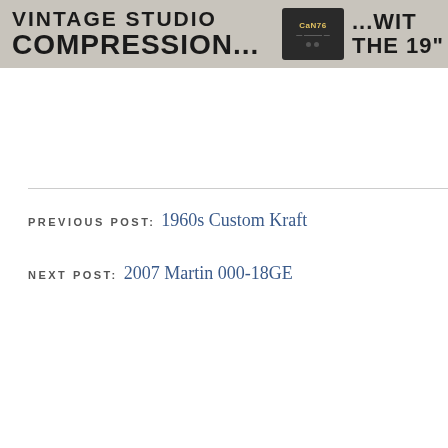[Figure (illustration): Banner advertisement for audio compression equipment showing text 'VINTAGE STUDIO COMPRESSION... ...WITH THE 19"' with an image of a rack-mount audio device labeled 'CaN76']
PREVIOUS POST: 1960s Custom Kraft
NEXT POST: 2007 Martin 000-18GE